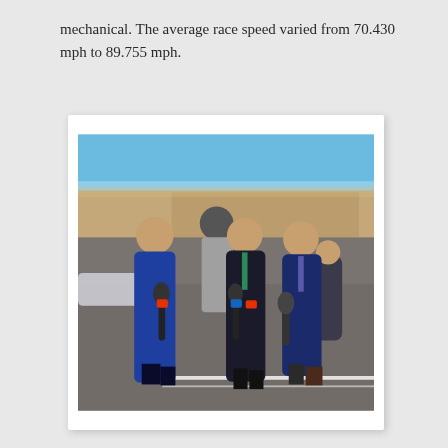mechanical. The average race speed varied from 70.430 mph to 89.755 mph.
[Figure (photo): Four men standing on a race track. Three are wearing suits and holding FOX Sports microphones, one in a blue suit on the left, one in a dark suit in the center, and one in a navy suit on the right. A fourth man in casual clothes and a cap stands behind them. The background shows a packed grandstand and race track facilities under a clear blue sky.]